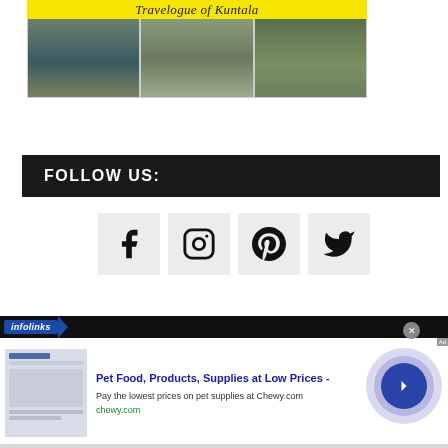[Figure (photo): Travelogue of Kuntala banner with collage of travel photos including coastal sunset, architectural columns, and a forest path]
FOLLOW US:
[Figure (infographic): Four social media icons: Facebook, Instagram, Pinterest, Twitter on light gray square backgrounds]
[Figure (screenshot): Infolinks advertisement banner for Chewy.com pet food products with circular arrow button and close button]